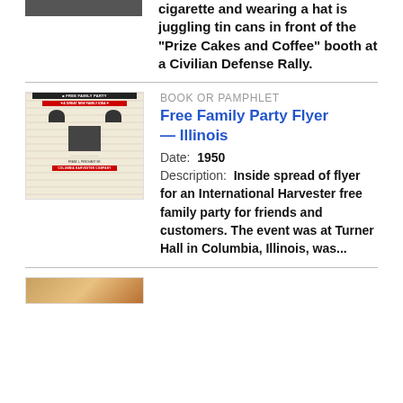cigarette and wearing a hat is juggling tin cans in front of the "Prize Cakes and Coffee" booth at a Civilian Defense Rally.
[Figure (photo): Thumbnail photo (black and white) at top left]
[Figure (illustration): Thumbnail image of Free Family Party Flyer — Illinois pamphlet cover]
BOOK OR PAMPHLET
Free Family Party Flyer — Illinois
Date: 1950
Description: Inside spread of flyer for an International Harvester free family party for friends and customers. The event was at Turner Hall in Columbia, Illinois, was...